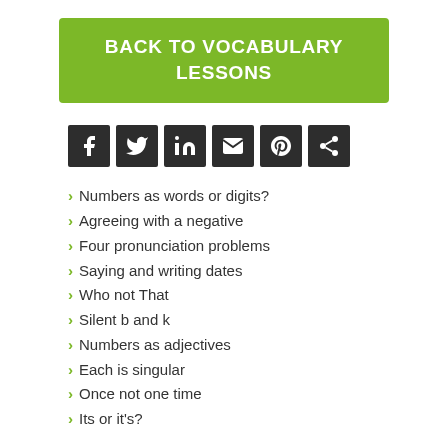BACK TO VOCABULARY LESSONS
[Figure (other): Social media share icons: Facebook, Twitter, LinkedIn, Email, Pinterest, Share]
Numbers as words or digits?
Agreeing with a negative
Four pronunciation problems
Saying and writing dates
Who not That
Silent b and k
Numbers as adjectives
Each is singular
Once not one time
Its or it's?